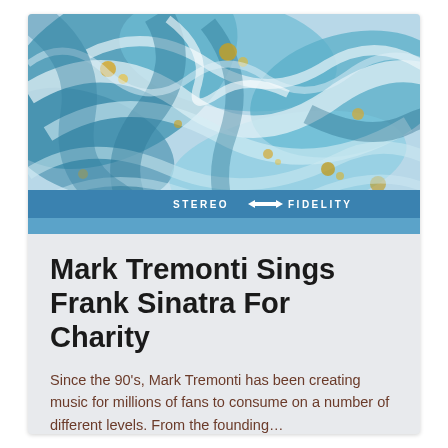[Figure (illustration): Abstract marbled fluid art painting with swirling teal, white, blue, and gold/yellow tones. A horizontal blue band with 'STEREO ◄—► FIDELITY' text and a lower lighter blue strip appear at the bottom of the image area.]
Mark Tremonti Sings Frank Sinatra For Charity
Since the 90's, Mark Tremonti has been creating music for millions of fans to consume on a number of different levels. From the founding…